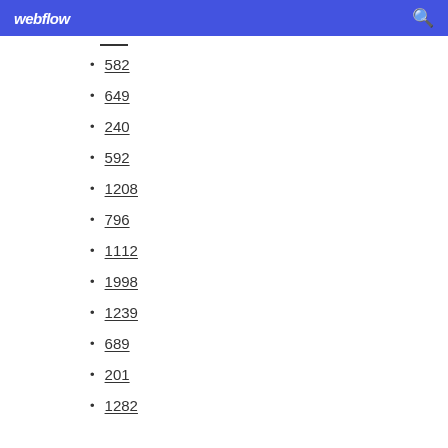webflow
582
649
240
592
1208
796
1112
1998
1239
689
201
1282